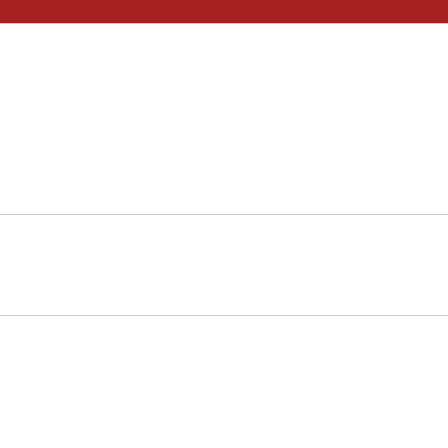General Philatelic Discussions (N...
Have You Inherited Some Stamps Here. If you have inherited some stamps, postcards or other philatelic material, post your questions and images
American Philatelic Society (AP... & Business
Main Stamp Collecting Forum This is the place to discuss general topics. All stamp discussions that fit in other more specific forums are welcome here. Come and join our great exchange of philatelic info
Stamp Production Process For... All topics about the technical aspects of stamp collecting such as printing methods, types of presses, paper types, etc.
Stamp Engraver Forum This forum is about the men and women who hand engraved the dies from which recess engraved stamps are printed.